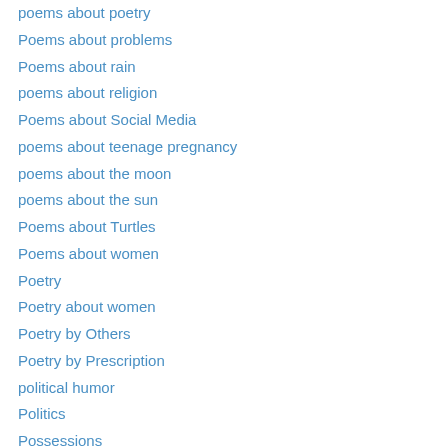poems about poetry
Poems about problems
Poems about rain
poems about religion
Poems about Social Media
poems about teenage pregnancy
poems about the moon
poems about the sun
Poems about Turtles
Poems about women
Poetry
Poetry about women
Poetry by Others
Poetry by Prescription
political humor
Politics
Possessions
Power
Precognition
PsSubcategories...